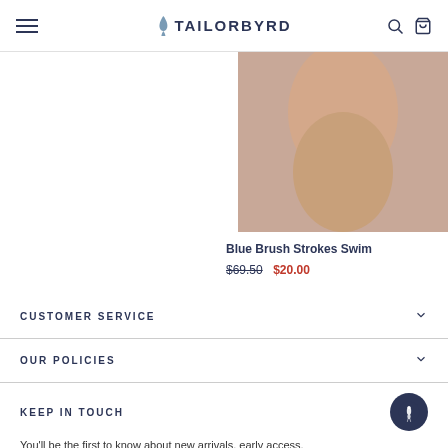TAILORBYRD
[Figure (photo): Partial view of a male model's torso wearing swim shorts]
Blue Brush Strokes Swim
$69.50  $20.00
CUSTOMER SERVICE
OUR POLICIES
KEEP IN TOUCH
You'll be the first to know about new arrivals, early access, everything we have to offer!